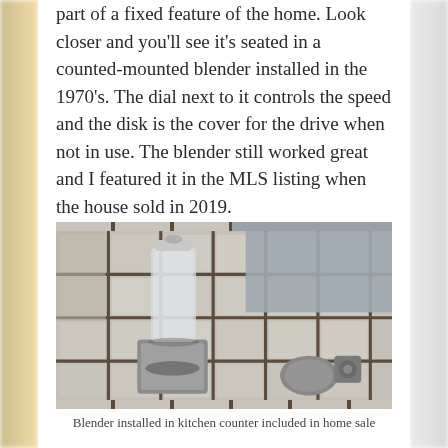part of a fixed feature of the home. Look closer and you'll see it's seated in a counted-mounted blender installed in the 1970's. The dial next to it controls the speed and the disk is the cover for the drive when not in use. The blender still worked great and I featured it in the MLS listing when the house sold in 2019.
[Figure (photo): A counter-mounted blender installed in kitchen counter tiles. The blender jar is clear glass with a chrome/silver lid. The blender base is flush-mounted into white square tiles with dark grout. A separate disk/cover and dial control are visible next to the blender base on the tiled surface.]
Blender installed in kitchen counter included in home sale